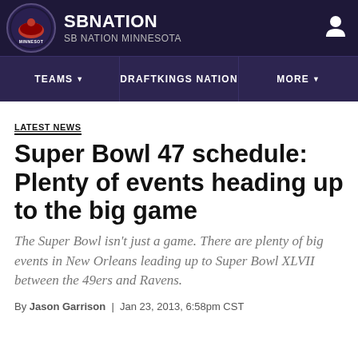SBNATION / SB NATION MINNESOTA
TEAMS | DRAFTKINGS NATION | MORE
LATEST NEWS
Super Bowl 47 schedule: Plenty of events heading up to the big game
The Super Bowl isn't just a game. There are plenty of big events in New Orleans leading up to Super Bowl XLVII between the 49ers and Ravens.
By Jason Garrison | Jan 23, 2013, 6:58pm CST